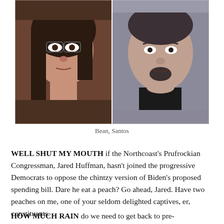[Figure (photo): Two mugshot-style photographs side by side: a woman on the left with dark hair and glasses, and a man on the right with a goatee wearing a black shirt.]
Bean, Santos
WELL SHUT MY MOUTH if the Northcoast’s Prufrockian Congressman, Jared Huffman, hasn’t joined the progressive Democrats to oppose the chintzy version of Biden’s proposed spending bill. Dare he eat a peach? Go ahead, Jared. Have two peaches on me, one of your seldom delighted captives, er, constituents.
HOW MUCH RAIN do we need to get back to pre-drought liquid levels? Learning League of the California